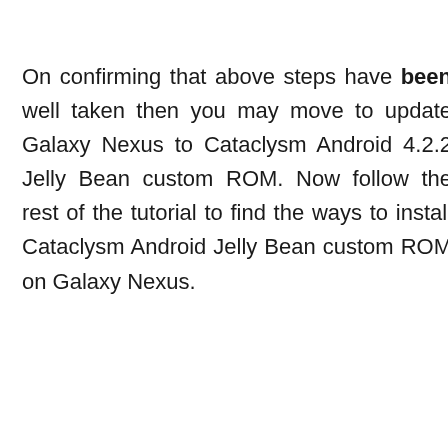On confirming that above steps have been well taken then you may move to update Galaxy Nexus to Cataclysm Android 4.2.2 Jelly Bean custom ROM. Now follow the rest of the tutorial to find the ways to install Cataclysm Android Jelly Bean custom ROM on Galaxy Nexus.